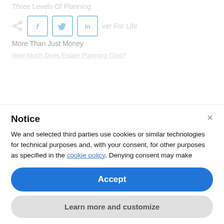Three Levels Of Planning
Cover For Life
More Than Just Money
How Much Does Estate Planning Cost?
Notice
We and selected third parties use cookies or similar technologies for technical purposes and, with your consent, for other purposes as specified in the cookie policy. Denying consent may make related features unavailable. You can consent to the use of such technologies by using the "Accept" button, by closing this notice, by scrolling this page, by interacting with any link or button outside of this notice or by continuing to browse otherwise.
Accept
Learn more and customize